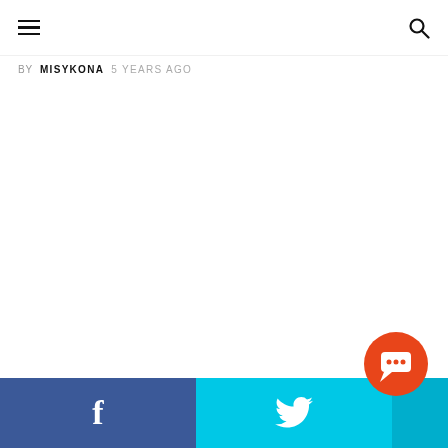BY MISYKONA 5 YEARS AGO
[Figure (other): Orange circular chat/comment button icon in bottom right area]
Facebook share | Twitter share